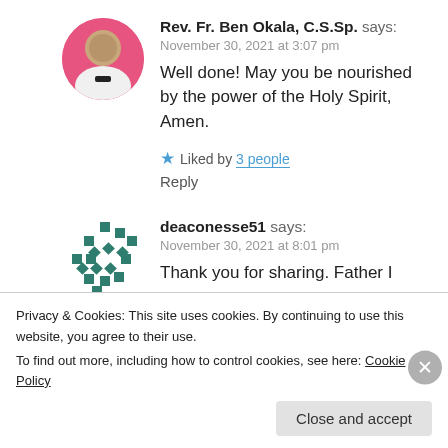[Figure (photo): Circular avatar photo of Rev. Fr. Ben Okala, a man in white clerical clothing with a pink background]
Rev. Fr. Ben Okala, C.S.Sp. says:
November 30, 2021 at 3:07 pm
Well done! May you be nourished by the power of the Holy Spirit, Amen.
★ Liked by 3 people
Reply
[Figure (logo): Gravatar-style dot pattern avatar for deaconesse51]
deaconesse51 says:
November 30, 2021 at 8:01 pm
Thank you for sharing. Father I pray blessings over our lovely word. I thank
Privacy & Cookies: This site uses cookies. By continuing to use this website, you agree to their use.
To find out more, including how to control cookies, see here: Cookie Policy
Close and accept